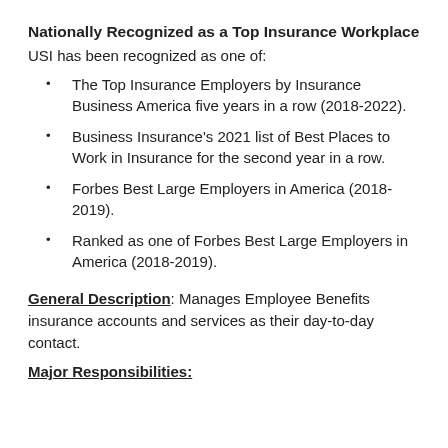Nationally Recognized as a Top Insurance Workplace
USI has been recognized as one of:
The Top Insurance Employers by Insurance Business America five years in a row (2018-2022).
Business Insurance's 2021 list of Best Places to Work in Insurance for the second year in a row.
Forbes Best Large Employers in America (2018-2019).
Ranked as one of Forbes Best Large Employers in America (2018-2019).
General Description: Manages Employee Benefits insurance accounts and services as their day-to-day contact.
Major Responsibilities: